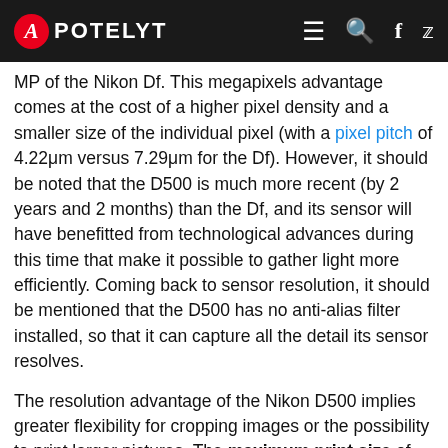APOTELYT
MP of the Nikon Df. This megapixels advantage comes at the cost of a higher pixel density and a smaller size of the individual pixel (with a pixel pitch of 4.22μm versus 7.29μm for the Df). However, it should be noted that the D500 is much more recent (by 2 years and 2 months) than the Df, and its sensor will have benefitted from technological advances during this time that make it possible to gather light more efficiently. Coming back to sensor resolution, it should be mentioned that the D500 has no anti-alias filter installed, so that it can capture all the detail its sensor resolves.
The resolution advantage of the Nikon D500 implies greater flexibility for cropping images or the possibility to print larger pictures. The maximum print size of the D500 for good quality output (200 dots per inch) amounts to 27.8 x 18.6 inches or 70.7 x 47.1 cm, for very good quality (250 dpi) 22.3 x 14.8 inches or 56.6 x 37.7 cm, and for excellent quality (300 dpi) 18.6 x 12.4 inches or 47.1 x 31.4 cm. The corresponding values for the Nikon Df are 24.6 x 16.4